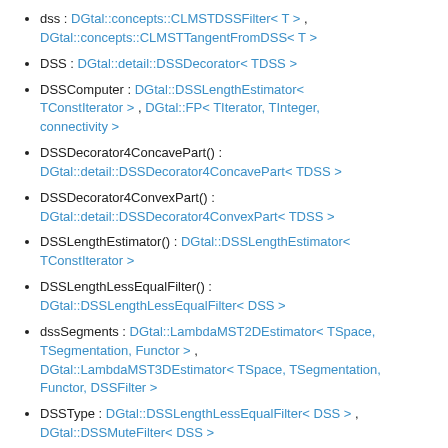dss : DGtal::concepts::CLMSTDSSFilter< T > , DGtal::concepts::CLMSTTangentFromDSS< T >
DSS : DGtal::detail::DSSDecorator< TDSS >
DSSComputer : DGtal::DSSLengthEstimator< TConstIterator > , DGtal::FP< TIterator, TInteger, connectivity >
DSSDecorator4ConcavePart() : DGtal::detail::DSSDecorator4ConcavePart< TDSS >
DSSDecorator4ConvexPart() : DGtal::detail::DSSDecorator4ConvexPart< TDSS >
DSSLengthEstimator() : DGtal::DSSLengthEstimator< TConstIterator >
DSSLengthLessEqualFilter() : DGtal::DSSLengthLessEqualFilter< DSS >
dssSegments : DGtal::LambdaMST2DEstimator< TSpace, TSegmentation, Functor > , DGtal::LambdaMST3DEstimator< TSpace, TSegmentation, Functor, DSSFilter >
DSSType : DGtal::DSSLengthLessEqualFilter< DSS > , DGtal::DSSMuteFilter< DSS >